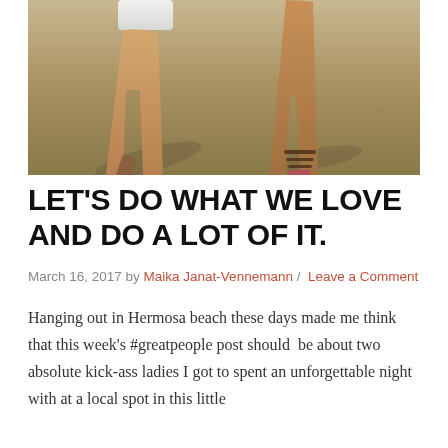[Figure (photo): Photo showing legs of two people standing on pavement/ground, one wearing shorts and the other wearing sandals, with strong sunlight casting shadows]
LET'S DO WHAT WE LOVE AND DO A LOT OF IT.
March 16, 2017 by Maika Janat-Vennemann / Leave a Comment
Hanging out in Hermosa beach these days made me think that this week's #greatpeople post should be about two absolute kick-ass ladies I got to spent an unforgettable night with at a local spot in this little